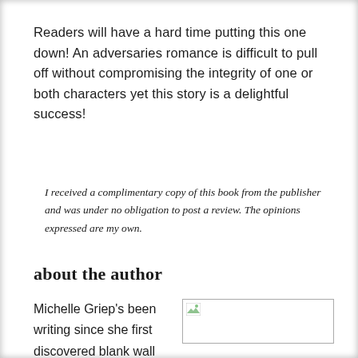Readers will have a hard time putting this one down! An adversaries romance is difficult to pull off without compromising the integrity of one or both characters yet this story is a delightful success!
I received a complimentary copy of this book from the publisher and was under no obligation to post a review. The opinions expressed are my own.
about the author
Michelle Griep's been writing since she first discovered blank wall space and Crayolas. She is
[Figure (photo): Broken/missing image placeholder with small image icon in top-left corner]